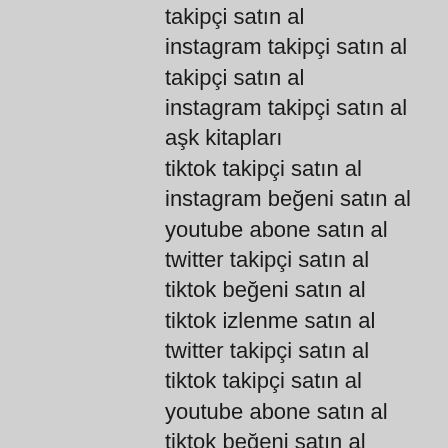takipçi satın al
instagram takipçi satın al
takipçi satın al
instagram takipçi satın al
aşk kitapları
tiktok takipçi satın al
instagram beğeni satın al
youtube abone satın al
twitter takipçi satın al
tiktok beğeni satın al
tiktok izlenme satın al
twitter takipçi satın al
tiktok takipçi satın al
youtube abone satın al
tiktok beğeni satın al
instagram beğeni satın al
trend topic satın al
trend topic satın al
youtube abone satın al
beğeni satın al
tiktok izlenme satın al
sms onay